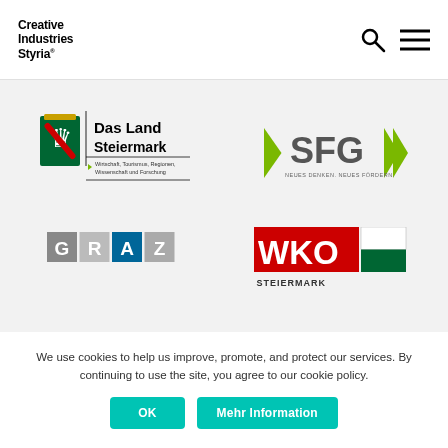Creative Industries Styria
[Figure (logo): Das Land Steiermark logo with coat of arms and text 'Wirtschaft, Tourismus, Regionen, Wissenschaft und Forschung']
[Figure (logo): SFG logo with green chevrons and text 'NEUES DENKEN. NEUES FÖRDERN.']
[Figure (logo): GRAZ city logo with grey and teal letter blocks]
[Figure (logo): WKO Steiermark logo with red, white and green colors]
We use cookies to help us improve, promote, and protect our services. By continuing to use the site, you agree to our cookie policy.
OK
Mehr Information